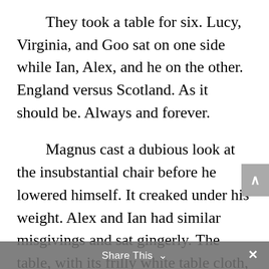They took a table for six. Lucy, Virginia, and Goo sat on one side while Ian, Alex, and he on the other. England versus Scotland. As it should be. Always and forever.
Magnus cast a dubious look at the insubstantial chair before he lowered himself. It creaked under his weight. Alex and Ian had similar misgivings and sat gingerly. The table, with its frilly white table cloth, wasn't wide enough for the three of them and it was too low to fit his legs comfortably underneath. They'd probably serve him tea and tiny biscuits
Share This ∨  ×